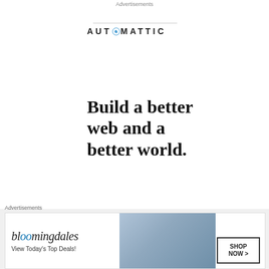Advertisements
[Figure (logo): Automattic logo with compass icon]
Build a better web and a better world.
[Figure (other): Blue CTA button]
Advertisements
[Figure (other): Bloomingdale's advertisement banner: View Today's Top Deals! SHOP NOW >]